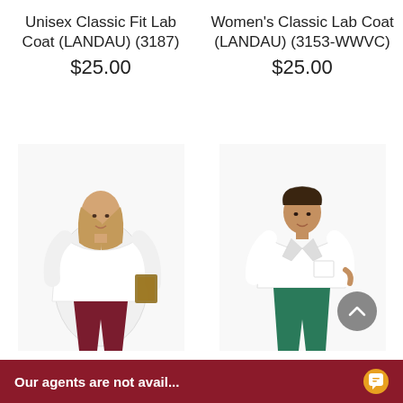Unisex Classic Fit Lab Coat (LANDAU) (3187)
$25.00
Women's Classic Lab Coat (LANDAU) (3153-WWVC)
$25.00
[Figure (photo): Woman wearing a white lab coat holding a brown clipboard, with dark red scrub pants]
[Figure (photo): Woman wearing a short white lab coat with green scrub pants]
Women' Classic Lab Coat (LANDAU) (3155-WWY)
Women's
Our agents are not avail...